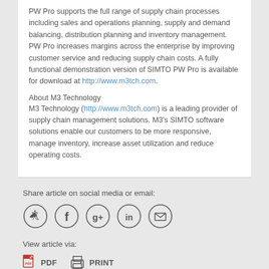PW Pro supports the full range of supply chain processes including sales and operations planning, supply and demand balancing, distribution planning and inventory management. PW Pro increases margins across the enterprise by improving customer service and reducing supply chain costs. A fully functional demonstration version of SIMTO PW Pro is available for download at http://www.m3tch.com.
About M3 Technology
M3 Technology (http://www.m3tch.com) is a leading provider of supply chain management solutions. M3's SIMTO software solutions enable our customers to be more responsive, manage inventory, increase asset utilization and reduce operating costs.
Share article on social media or email:
[Figure (infographic): Social media icons: Twitter, Facebook, Google+, LinkedIn, Email]
View article via:
[Figure (infographic): PDF and PRINT icons with labels]